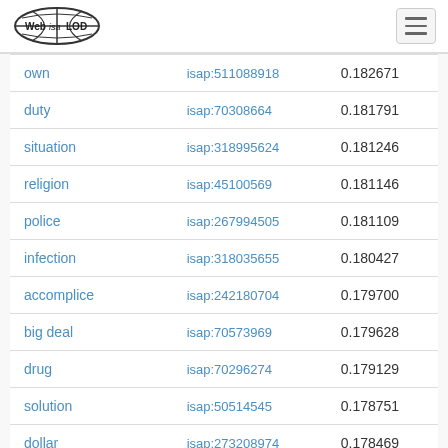Web ISA LOD
| term | isap | score |
| --- | --- | --- |
| own | isap:511088918 | 0.182671 |
| duty | isap:70308664 | 0.181791 |
| situation | isap:318995624 | 0.181246 |
| religion | isap:45100569 | 0.181146 |
| police | isap:267994505 | 0.181109 |
| infection | isap:318035655 | 0.180427 |
| accomplice | isap:242180704 | 0.179700 |
| big deal | isap:70573969 | 0.179628 |
| drug | isap:70296274 | 0.179129 |
| solution | isap:50514545 | 0.178751 |
| dollar | isap:273208974 | 0.178469 |